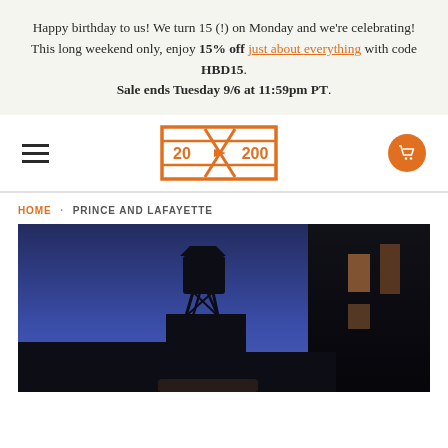Happy birthday to us! We turn 15 (!) on Monday and we're celebrating! This long weekend only, enjoy 15% off just about everything with code HBD15. Sale ends Tuesday 9/6 at 11:59pm PT.
[Figure (logo): 20x200 logo in orange with hamburger menu and cart icon]
HOME · PRINCE AND LAFAYETTE
[Figure (photo): Night cityscape photo showing a water tower silhouette against a deep blue twilight sky, with dark building edges and lit windows on the right]